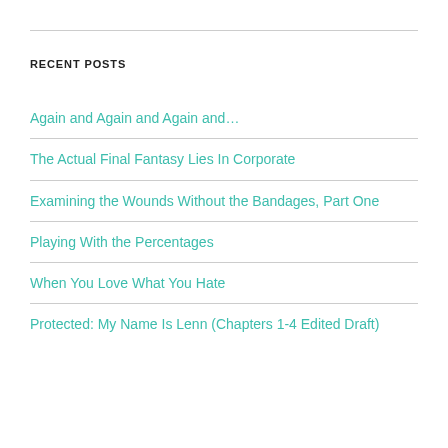RECENT POSTS
Again and Again and Again and…
The Actual Final Fantasy Lies In Corporate
Examining the Wounds Without the Bandages, Part One
Playing With the Percentages
When You Love What You Hate
Protected: My Name Is Lenn (Chapters 1-4 Edited Draft)